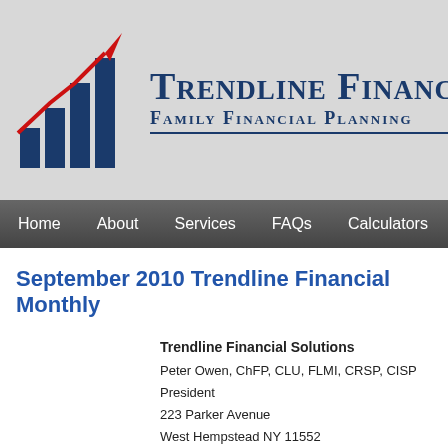[Figure (logo): Trendline Financial Solutions logo with bar chart and red upward arrow, company name and tagline 'Family Financial Planning']
Home  About  Services  FAQs  Calculators
September 2010 Trendline Financial Monthly
Trendline Financial Solutions
Peter Owen, ChFP, CLU, FLMI, CRSP, CISP
President
223 Parker Avenue
West Hempstead NY 11552
(516) 317 – 2860
peter@trendlinefinancialsolutions.com
www.TrendlineFinancialSolutions.com